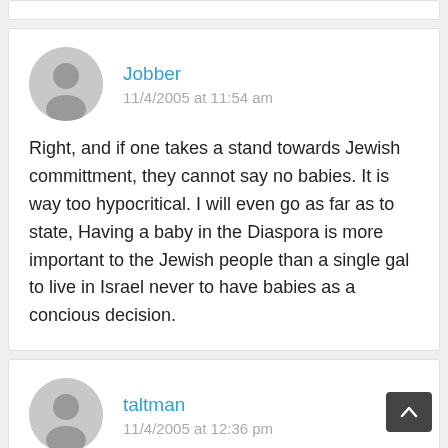Jobber
11/4/2005 at 11:54 am
Right, and if one takes a stand towards Jewish committment, they cannot say no babies. It is way too hypocritical. I will even go as far as to state, Having a baby in the Diaspora is more important to the Jewish people than a single gal to live in Israel never to have babies as a concious decision.
taltman
11/4/2005 at 12:36 pm
JM: